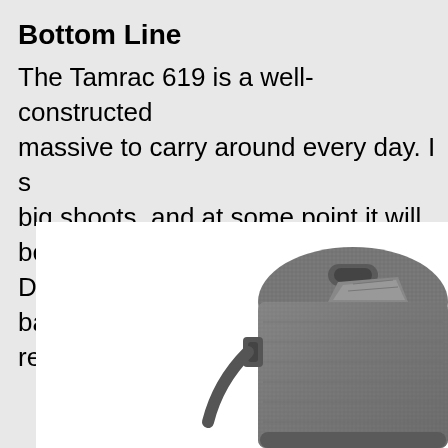Bottom Line
The Tamrac 619 is a well-constructed massive to carry around every day. I s big shoots, and at some point it will be DSLR rig case. If you need a giant ba requirement, just don't try and carry it
[Figure (photo): Gray/dark camera bag photographed from above and side angle, showing the top handle and textured fabric, on a white background]